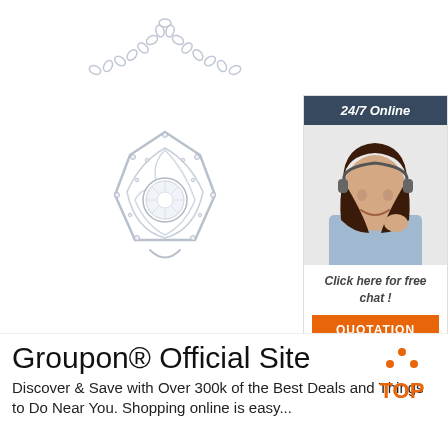[Figure (photo): Silver rose-shaped diamond pendant necklace with chain on white background]
[Figure (infographic): 24/7 Online customer support widget with woman wearing headset, 'Click here for free chat!' text and orange QUOTATION button]
Groupon® Official Site
[Figure (logo): TOP badge logo with orange dots forming a triangle above the word TOP in orange]
Discover & Save with Over 300k of the Best Deals and Things to Do Near You. Shopping online is easy...